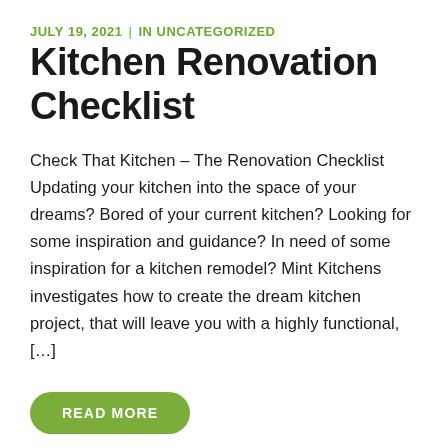JULY 19, 2021 | IN UNCATEGORIZED
Kitchen Renovation Checklist
Check That Kitchen – The Renovation Checklist Updating your kitchen into the space of your dreams? Bored of your current kitchen? Looking for some inspiration and guidance? In need of some inspiration for a kitchen remodel? Mint Kitchens investigates how to create the dream kitchen project, that will leave you with a highly functional, […]
READ MORE